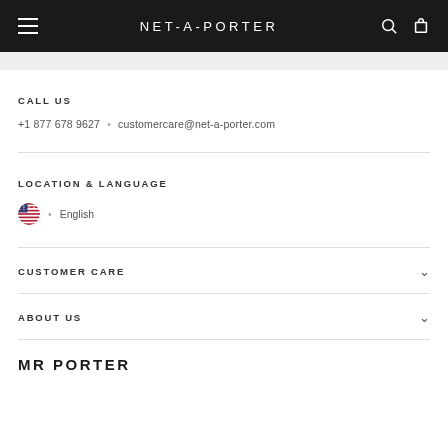NET-A-PORTER
CALL US
+1 877 678 9627 • customercare@net-a-porter.com
LOCATION & LANGUAGE
English
CUSTOMER CARE
ABOUT US
MR PORTER